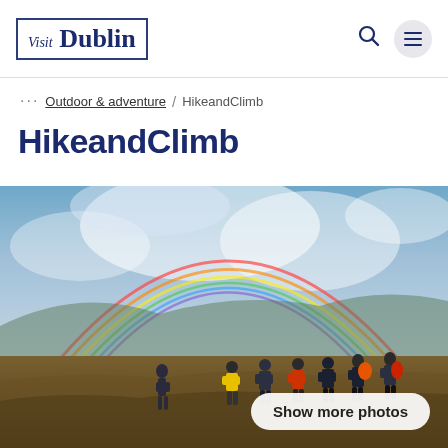[Figure (logo): Visit Dublin logo in a rectangular border with dark navy serif text]
··· Outdoor & adventure / HikeandClimb
HikeandClimb
[Figure (photo): Group of hikers standing on moorland with a rainbow arching across a dramatic cloudy sky]
Show more photos